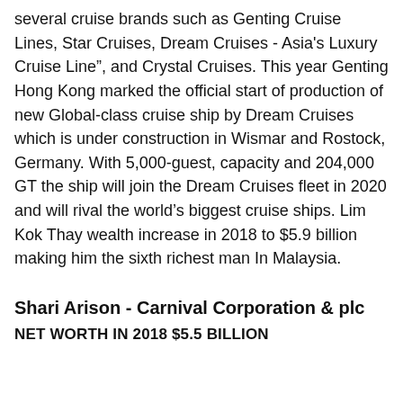several cruise brands such as Genting Cruise Lines, Star Cruises, Dream Cruises - Asia's Luxury Cruise Line", and Crystal Cruises. This year Genting Hong Kong marked the official start of production of new Global-class cruise ship by Dream Cruises which is under construction in Wismar and Rostock, Germany. With 5,000-guest, capacity and 204,000 GT the ship will join the Dream Cruises fleet in 2020 and will rival the world's biggest cruise ships. Lim Kok Thay wealth increase in 2018 to $5.9 billion making him the sixth richest man In Malaysia.
Shari Arison - Carnival Corporation & plc
NET WORTH IN 2018 $5.5 Billion